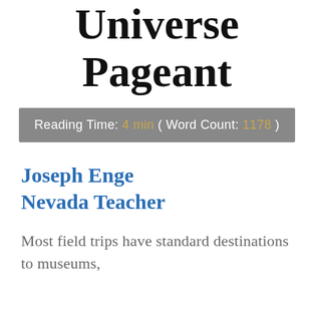Universe Pageant
Reading Time: 4 min ( Word Count: 1178 )
Joseph Enge Nevada Teacher
Most field trips have standard destinations to museums,